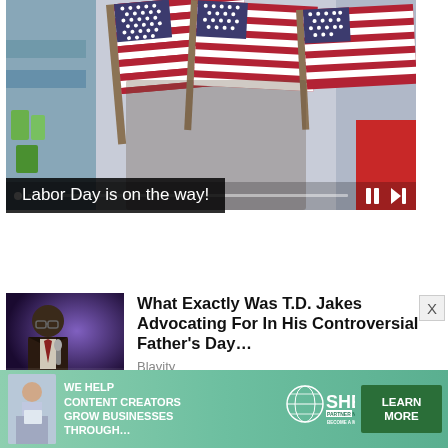[Figure (screenshot): Video player showing American flags in a retail store setting, with a progress bar and playback controls at the bottom]
Labor Day is on the way!
[Figure (photo): Thumbnail photo of T.D. Jakes speaking at a microphone against a purple background]
What Exactly Was T.D. Jakes Advocating For In His Controversial Father's Day…
Blavity
[Figure (infographic): Advertisement banner: WE HELP CONTENT CREATORS GROW BUSINESSES THROUGH... SHE PARTNER NETWORK BECOME A MEMBER | LEARN MORE]